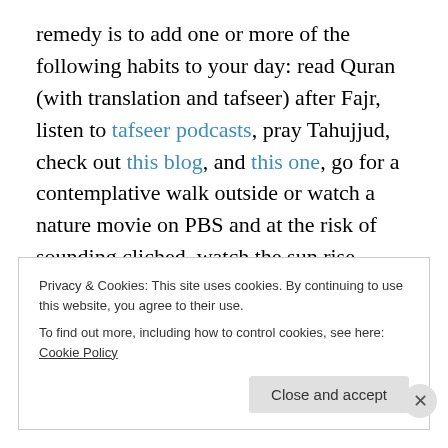remedy is to add one or more of the following habits to your day: read Quran (with translation and tafseer) after Fajr, listen to tafseer podcasts, pray Tahujjud, check out this blog, and this one, go for a contemplative walk outside or watch a nature movie on PBS and at the risk of sounding cliched, watch the sun rise. There are also weekend courses, and courses that last a little longer which can bring the remembrance of Allah (swt) back into your life. The opportunities are many and the excuses are few.
Privacy & Cookies: This site uses cookies. By continuing to use this website, you agree to their use.
To find out more, including how to control cookies, see here: Cookie Policy